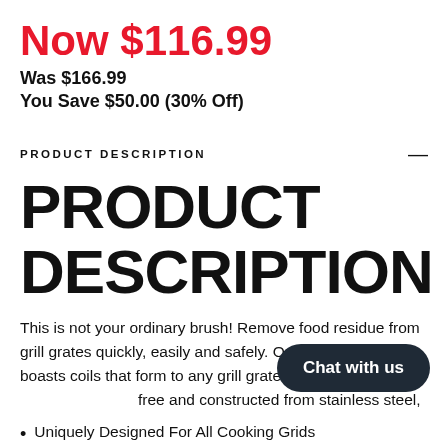Now $116.99
Was $166.99
You Save $50.00 (30% Off)
PRODUCT DESCRIPTION
PRODUCT DESCRIPTION
This is not your ordinary brush! Remove food residue from grill grates quickly, easily and safely. Our Spiral Grid Brush boasts coils that form to any grill grates for opti…-free and constructed from stainless steel,
Uniquely Designed For All Cooking Grids